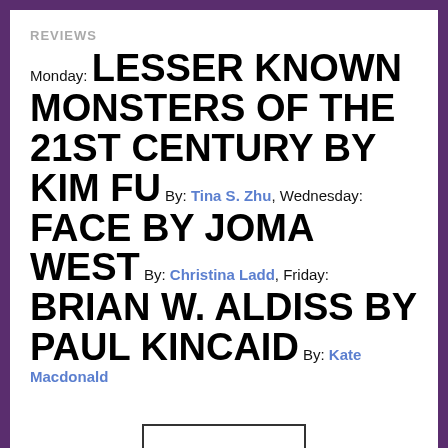REVIEWS
Monday: LESSER KNOWN MONSTERS OF THE 21ST CENTURY BY KIM FU By: Tina S. Zhu, Wednesday: FACE BY JOMA WEST By: Christina Ladd, Friday: BRIAN W. ALDISS BY PAUL KINCAID By: Kate Macdonald